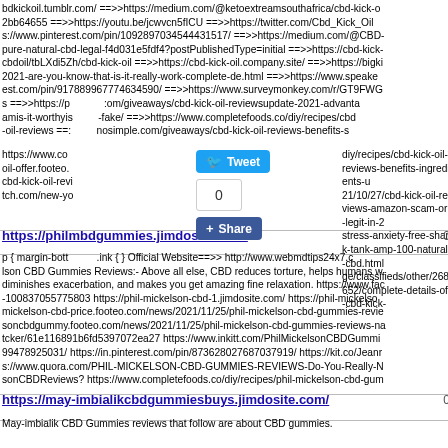bdkickoil.tumblr.com/ ==>>https://medium.com/@ketoextreamsouthafrica/cbd-kick-o 2bb64655 ==>>https://youtu.be/jcwvcn5fICU ==>>https://twitter.com/Cbd_Kick_Oil s://www.pinterest.com/pin/1092897034544431517/ ==>>https://medium.com/@CBD pure-natural-cbd-legal-f4d031e5fdf4?postPublishedType=initial ==>>https://cbd-kick cbdoil/tbLXdi5Zh/cbd-kick-oil ==>>https://cbd-kick-oil.company.site/ ==>>https://bigk 2021-are-you-know-that-is-it-really-work-complete-de.html ==>>https://www.speake est.com/pin/917889967774634590/ ==>>https://www.surveymonkey.com/r/GT9FWG s ==>>https://p :om/giveaways/cbd-kick-oil-reviewsupdate-2021-advanta amis-it-worthyis -fake/ ==>>https://www.completefoods.co/diy/recipes/cbd -oil-reviews ==: nosimple.com/giveaways/cbd-kick-oil-reviews-benefits-s https://www.co diy/recipes/cbd-kick-oil-reviews-benefits-ingredients-u oil-offer.footeo. 21/10/27/cbd-kick-oil-reviews-amazon-scam-or-legit-in-2 cbd-kick-oil-revi stress-anxiety-free-shark-tank-amp-100-natural-cbd.html tch.com/new-yo ge/classifieds/other/268652/complete-details-of-cbd-kick-
https://philn bdgummies.jimdosite.com/ 0
p { margin-bott .ink { } Official Website==>> http://www.webmdtips24x7.c lson CBD Gummies Reviews:- Above all else, CBD reduces torture, helps humans w diminishes exacerbation, and makes you get amazing fine relaxation. https://www.fac -100837055775803 https://phil-mickelson-cbd-1.jimdosite.com/ https://phil-mickelso mickelson-cbd-price.footeo.com/news/2021/11/25/phil-mickelson-cbd-gummies-revie soncbdgummy.footeo.com/news/2021/11/25/phil-mickelson-cbd-gummies-reviews-na tcker/61e116891b6fd5397072ea27 https://www.inkitt.com/PhilMickelsonCBDGummi 99478925031/ https://in.pinterest.com/pin/873628027687037919/ https://kit.co/Jeanr s://www.quora.com/PHIL-MICKELSON-CBD-GUMMIES-REVIEWS-Do-You-Really-N sonCBDReviews? https://www.completefoods.co/diy/recipes/phil-mickelson-cbd-gum
https://may-imbialikcbdgummiesbuys.jimdosite.com/ 0